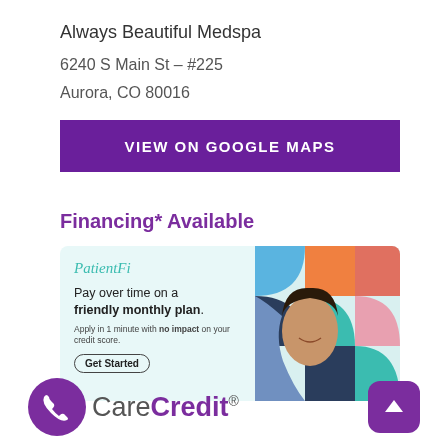Always Beautiful Medspa
6240 S Main St – #225
Aurora, CO 80016
VIEW ON GOOGLE MAPS
Financing* Available
[Figure (infographic): PatientFi advertisement banner: 'Pay over time on a friendly monthly plan. Apply in 1 minute with no impact on your credit score. Get Started' with a colorful geometric background and a smiling woman photo.]
[Figure (logo): CareCredit logo with purple phone icon circle on left and purple scroll-to-top button on right.]